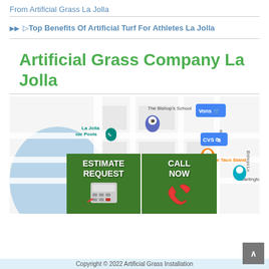From Artificial Grass La Jolla
▶▶ ▷Top Benefits Of Artificial Turf For Athletes La Jolla
Artificial Grass Company La Jolla
[Figure (map): Google Map showing La Jolla area with markers for The Bishop's School, La Jolla Tide Pools, Vons, CVS, The Taco Stand, Darlington House, with streets Pearl St, Bishops Ln, Fay Ave visible. Overlaid with green ESTIMATE REQUEST and CALL NOW buttons.]
Copyright © 2022 Artificial Grass Installation